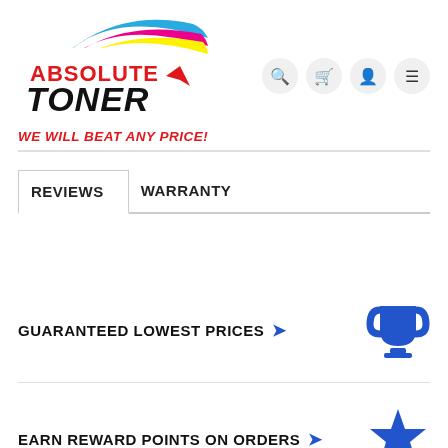[Figure (logo): Absolute Toner logo with colorful arc design (cyan, magenta, yellow stripes) and text 'ABSOLUTE TONER' with tagline 'WE WILL BEAT ANY PRICE!' in red italic]
REVIEWS    WARRANTY
GUARANTEED LOWEST PRICES ➔
EARN REWARD POINTS ON ORDERS ➔